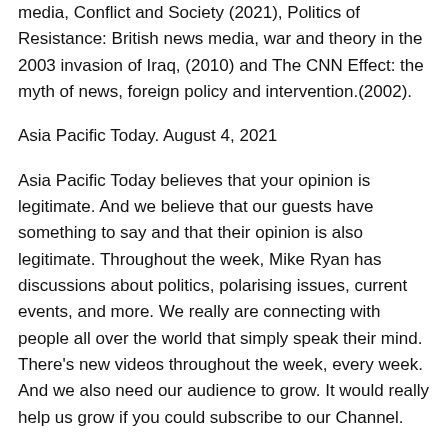media, Conflict and Society (2021), Politics of Resistance: British news media, war and theory in the 2003 invasion of Iraq, (2010) and The CNN Effect: the myth of news, foreign policy and intervention.(2002).
Asia Pacific Today. August 4, 2021
Asia Pacific Today believes that your opinion is legitimate. And we believe that our guests have something to say and that their opinion is also legitimate. Throughout the week, Mike Ryan has discussions about politics, polarising issues, current events, and more. We really are connecting with people all over the world that simply speak their mind. There’s new videos throughout the week, every week. And we also need our audience to grow. It would really help us grow if you could subscribe to our Channel.